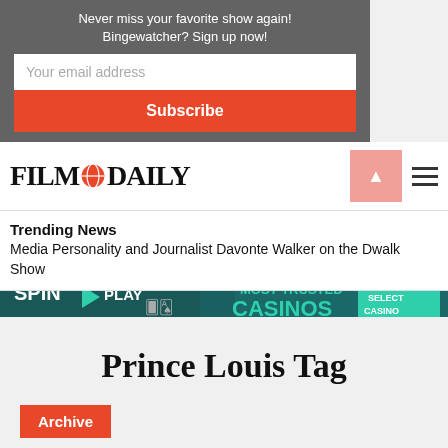Never miss your favorite show again! Bingewatcher? Sign up now!
Your email address
Subscribe
[Figure (logo): Film Daily logo with globe icon]
Trending News
Media Personality and Journalist Davonte Walker on the Dwalk Show
[Figure (infographic): Spin & Play casino advertisement banner: MOST TRUSTED CASINOS - SELECT CASINO]
Prince Louis Tag
Archive